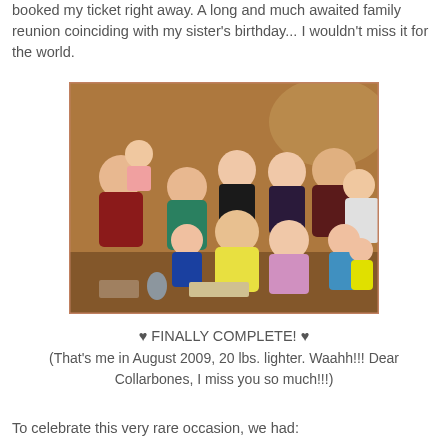booked my ticket right away. A long and much awaited family reunion coinciding with my sister's birthday... I wouldn't miss it for the world.
[Figure (photo): Group family photo showing approximately 11 people including adults and children posed together in what appears to be a restaurant setting with warm lighting.]
♥ FINALLY COMPLETE! ♥
(That's me in August 2009, 20 lbs. lighter. Waahh!!! Dear Collarbones, I miss you so much!!!)
To celebrate this very rare occasion, we had: